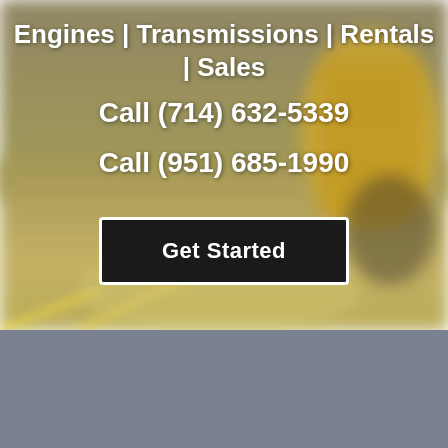[Figure (photo): Blurred background photo of an auto shop or warehouse interior with a yellow forklift or vehicle visible on the right side, concrete floor with yellow lines.]
Engines | Transmissions | Rentals | Sales
Call (714) 632-5339
Call (951) 685-1990
Get Started